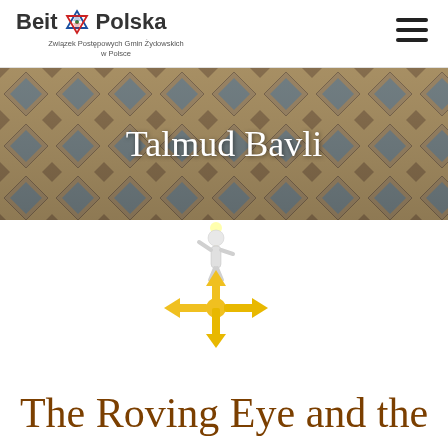Beit Polska – Związek Postępowych Gmin Żydowskich w Polsce
[Figure (illustration): Hero banner showing stone or tile facade with geometric diamond/hexagon pattern, with overlaid text 'Talmud Bavli' in white serif font]
[Figure (illustration): 3D white figurine standing on a yellow four-directional arrow/compass pointing up, down, left, and right with a glowing light above]
The Roving Eye and the